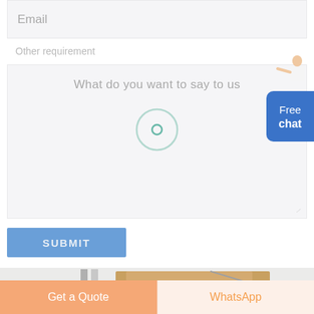Email
Other requirement
What do you want to say to us
[Figure (illustration): Free chat button with person figure; blue rounded rectangle showing 'Free chat' label]
SUBMIT
[Figure (photo): Product image strip showing metal bars and wooden/cardboard panels, partially visible]
Get a Quote
WhatsApp